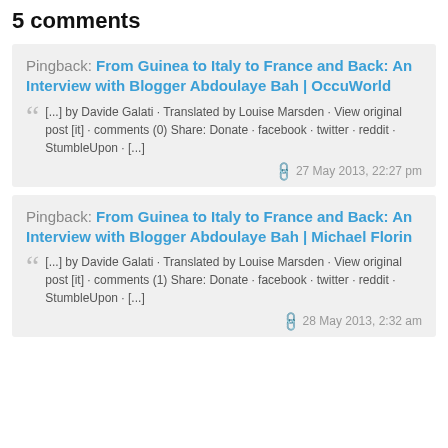5 comments
Pingback: From Guinea to Italy to France and Back: An Interview with Blogger Abdoulaye Bah | OccuWorld
[...] by Davide Galati · Translated by Louise Marsden · View original post [it] · comments (0) Share: Donate · facebook · twitter · reddit · StumbleUpon · [...]
27 May 2013, 22:27 pm
Pingback: From Guinea to Italy to France and Back: An Interview with Blogger Abdoulaye Bah | Michael Florin
[...] by Davide Galati · Translated by Louise Marsden · View original post [it] · comments (1) Share: Donate · facebook · twitter · reddit · StumbleUpon · [...]
28 May 2013, 2:32 am